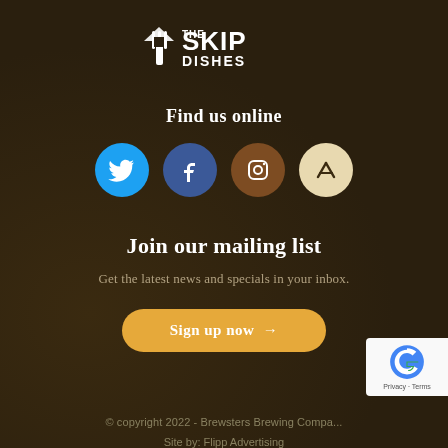[Figure (logo): SkipTheDishes logo — fork icon with white text 'SKIP THE DISHES']
Find us online
[Figure (infographic): Four social media icons in circles: Twitter (blue), Facebook (dark blue), Instagram (brown), Untappd (tan/cream)]
Join our mailing list
Get the latest news and specials in your inbox.
Sign up now →
© copyright 2022 - Brewsters Brewing Compa...
Site by: Flipp Advertising
Maximum alcohol content: 9.9%